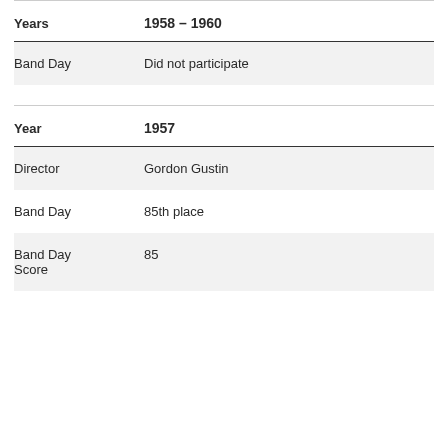| Years | 1958 – 1960 |
| --- | --- |
| Band Day | Did not participate |
| Year | 1957 |
| --- | --- |
| Director | Gordon Gustin |
| Band Day | 85th place |
| Band Day Score | 85 |